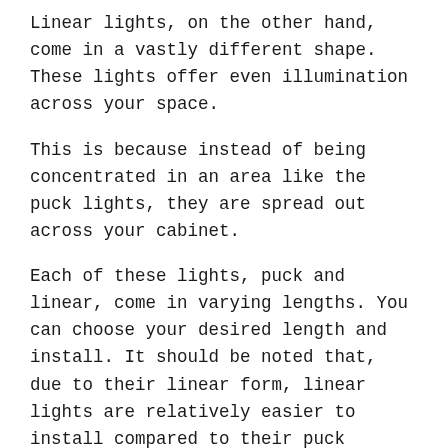Linear lights, on the other hand, come in a vastly different shape. These lights offer even illumination across your space.
This is because instead of being concentrated in an area like the puck lights, they are spread out across your cabinet.
Each of these lights, puck and linear, come in varying lengths. You can choose your desired length and install. It should be noted that, due to their linear form, linear lights are relatively easier to install compared to their puck counterparts.
Energy Efficiency
The efficiency of your under cabinet lights